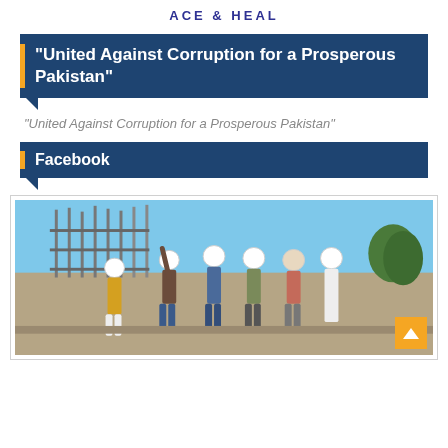ACE & HEAL
“United Against Corruption for a Prosperous Pakistan”
“United Against Corruption for a Prosperous Pakistan”
Facebook
[Figure (photo): Group of men wearing white hard hats at a construction site. A man is pointing upward while others stand nearby. Construction scaffolding and rebar visible in background under a blue sky.]